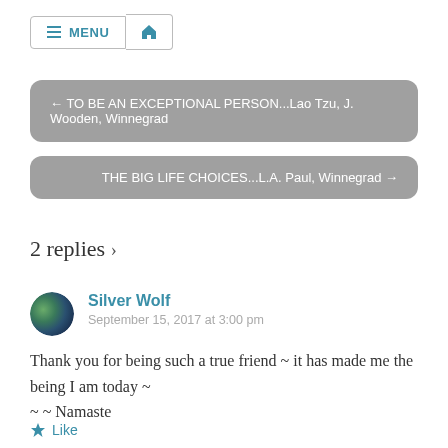MENU (navigation bar with home icon)
← TO BE AN EXCEPTIONAL PERSON...Lao Tzu, J. Wooden, Winnegrad
THE BIG LIFE CHOICES...L.A. Paul, Winnegrad →
2 replies ›
Silver Wolf
September 15, 2017 at 3:00 pm
Thank you for being such a true friend ~ it has made me the being I am today ~
~ ~ Namaste
Like